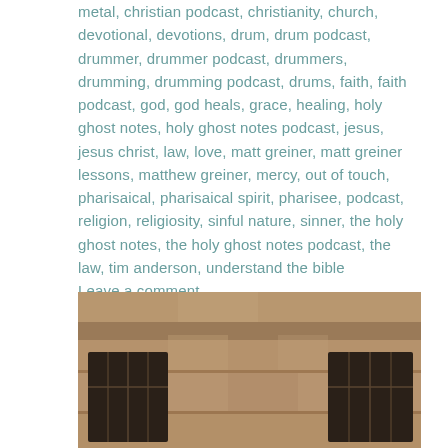metal, christian podcast, christianity, church, devotional, devotions, drum, drum podcast, drummer, drummer podcast, drummers, drumming, drumming podcast, drums, faith, faith podcast, god, god heals, grace, healing, holy ghost notes, holy ghost notes podcast, jesus, jesus christ, law, love, matt greiner, matt greiner lessons, matthew greiner, mercy, out of touch, pharisaical, pharisaical spirit, pharisee, podcast, religion, religiosity, sinful nature, sinner, the holy ghost notes, the holy ghost notes podcast, the law, tim anderson, understand the bible      Leave a comment
[Figure (photo): Photograph of an old stone building facade with arched windows and weathered stonework, brown/sandy tones.]